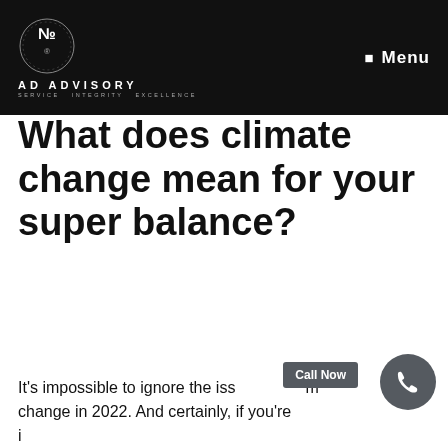AD ADVISORY SERVICE INTEGRITY EXCELLENCE | Menu
What does climate change mean for your super balance?
It's impossible to ignore the issue of climate change in 2022. And certainly, if you're investing in the market, you would almost...